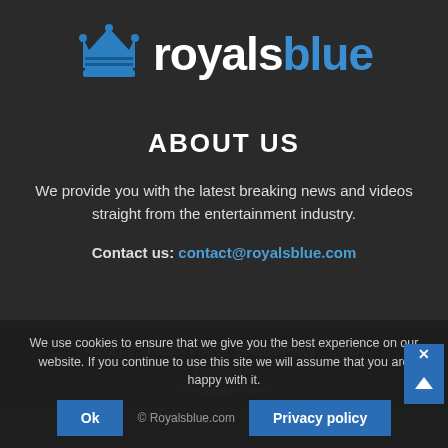[Figure (logo): RoyalsBlue logo: blue crown icon on the left, 'royals' in white bold text and 'blue' in blue bold text on the right]
ABOUT US
We provide you with the latest breaking news and videos straight from the entertainment industry.
Contact us: contact@royalsblue.com
About Us   Privacy Policy   Editorial Policy   DMCA
Contact Us
© Royalsblue.com
We use cookies to ensure that we give you the best experience on our website. If you continue to use this site we will assume that you are happy with it.